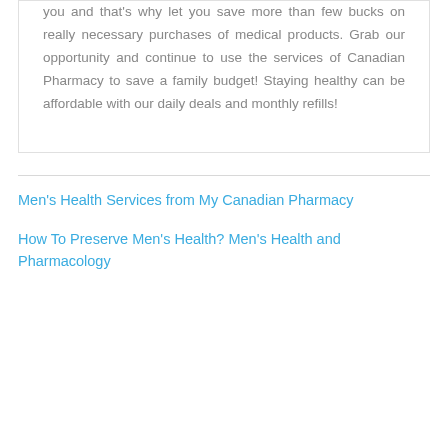you and that's why let you save more than few bucks on really necessary purchases of medical products. Grab our opportunity and continue to use the services of Canadian Pharmacy to save a family budget! Staying healthy can be affordable with our daily deals and monthly refills!
Men's Health Services from My Canadian Pharmacy
How To Preserve Men's Health? Men's Health and Pharmacology